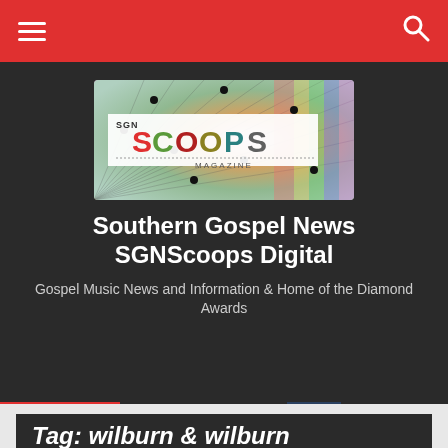[Figure (screenshot): Navigation bar with hamburger menu icon on left and search icon on right, red background]
[Figure (logo): SGN Scoops Magazine logo with colorful abstract background and text logo in center]
Southern Gospel News SGNScoops Digital
Gospel Music News and Information & Home of the Diamond Awards
[Figure (screenshot): News ticker bar with red NEWS label, lightning bolt, text '2 TV Ad Features Ben Graham', thumbnail image, and 'This Week o...' text]
Tag: wilburn & wilburn